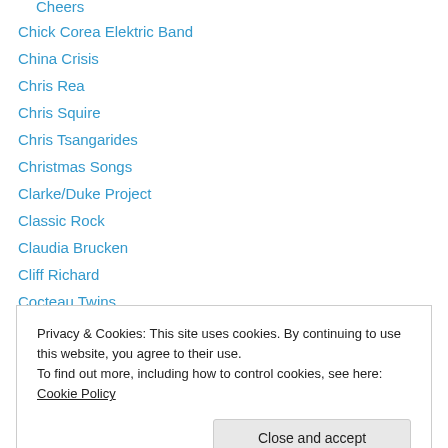Chick Corea Elektric Band
China Crisis
Chris Rea
Chris Squire
Chris Tsangarides
Christmas Songs
Clarke/Duke Project
Classic Rock
Claudia Brucken
Cliff Richard
Cocteau Twins
Comedy Records
Conspiracy Theories
Privacy & Cookies: This site uses cookies. By continuing to use this website, you agree to their use. To find out more, including how to control cookies, see here: Cookie Policy
Crap Videos
Cult Artists